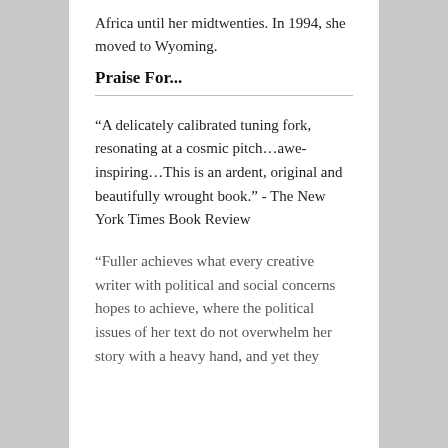Africa until her midtwenties. In 1994, she moved to Wyoming.
Praise For...
“A delicately calibrated tuning fork, resonating at a cosmic pitch…awe-inspiring…This is an ardent, original and beautifully wrought book.” - The New York Times Book Review
“Fuller achieves what every creative writer with political and social concerns hopes to achieve, where the political issues of her text do not overwhelm her story with a heavy hand, and yet they